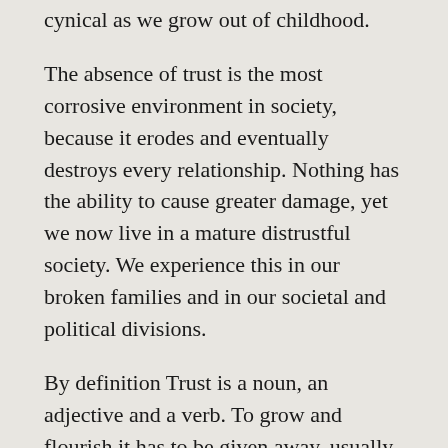cynical as we grow out of childhood.
The absence of trust is the most corrosive environment in society, because it erodes and eventually destroys every relationship. Nothing has the ability to cause greater damage, yet we now live in a mature distrustful society. We experience this in our broken families and in our societal and political divisions.
By definition Trust is a noun, an adjective and a verb. To grow and flourish it has to be given away, usually to someone else whom we believe in. How then is it possible, within this secular society to develop trust in God?
Jesus gave us the answer in John 21:27-29. Thomas did not believe that Jesus had risen after the